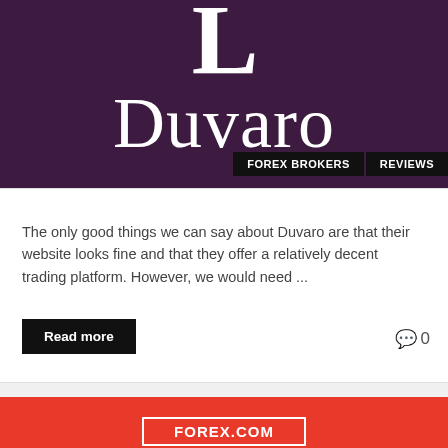[Figure (logo): Duvaro broker logo on dark purple background with large white 'L' letter and 'Duvaro' text in serif font]
FOREX BROKERS
REVIEWS
The only good things we can say about Duvaro are that their website looks fine and that they offer a relatively decent trading platform. However, we would need ...
Read more
0
RECOMMENDED FOREX BROKERS
FOREX.COM